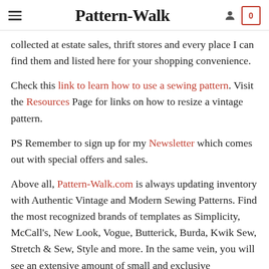Pattern-Walk
collected at estate sales, thrift stores and every place I can find them and listed here for your shopping convenience.
Check this link to learn how to use a sewing pattern. Visit the Resources Page for links on how to resize a vintage pattern.
PS Remember to sign up for my Newsletter which comes out with special offers and sales.
Above all, Pattern-Walk.com is always updating inventory with Authentic Vintage and Modern Sewing Patterns. Find the most recognized brands of templates as Simplicity, McCall's, New Look, Vogue, Butterick, Burda, Kwik Sew, Stretch & Sew, Style and more. In the same vein, you will see an extensive amount of small and exclusive catalogued brands. On the other hand, under the brand named Other